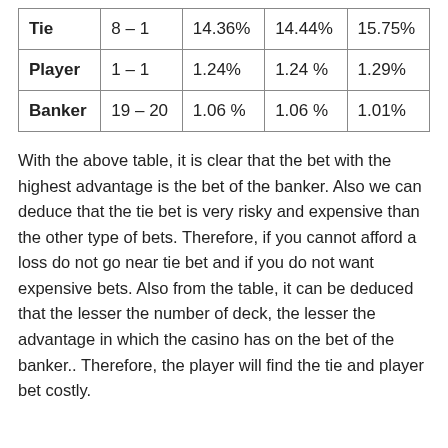| Tie | 8 – 1 | 14.36% | 14.44% | 15.75% |
| Player | 1 – 1 | 1.24% | 1.24 % | 1.29% |
| Banker | 19 – 20 | 1.06 % | 1.06 % | 1.01% |
With the above table, it is clear that the bet with the highest advantage is the bet of the banker. Also we can deduce that the tie bet is very risky and expensive than the other type of bets. Therefore, if you cannot afford a loss do not go near tie bet and if you do not want expensive bets. Also from the table, it can be deduced that the lesser the number of deck, the lesser the advantage in which the casino has on the bet of the banker.. Therefore, the player will find the tie and player bet costly.